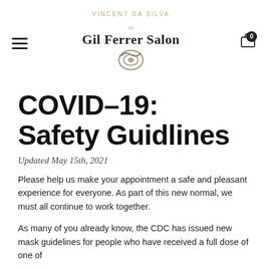VINCENT DA SILVA at Gil Ferrer Salon
COVID-19: Safety Guidlines
Updated May 15th, 2021
Please help us make your appointment a safe and pleasant experience for everyone. As part of this new normal, we must all continue to work together.
As many of you already know, the CDC has issued new mask guidelines for people who have received a full dose of one of